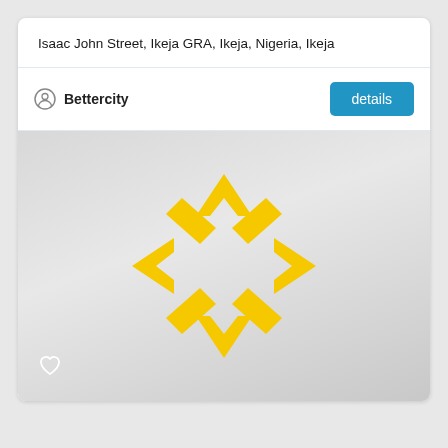Isaac John Street, Ikeja GRA, Ikeja, Nigeria, Ikeja
Bettercity
details
[Figure (logo): Bettercity logo on a grey gradient background: a yellow diamond/arrow star shape made of four chevron-like arrow heads pointing outward (up, down, left, right), forming an open diamond frame. A heart outline icon is shown in the bottom-left corner.]